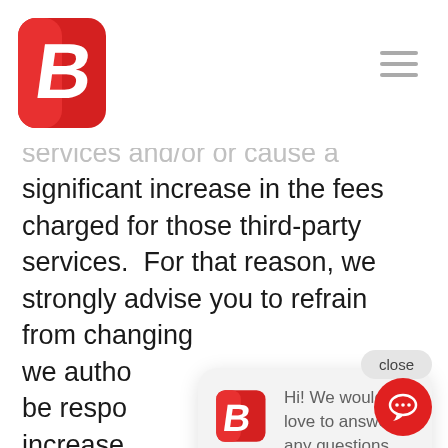[Figure (logo): Red rounded-square logo with white B letter inside, brand logo at top left]
services and/or or cause a significant increase in the fees charged for those third-party services.  For that reason, we strongly advise you to refrain from changing [text obscured] we autho[rized] be respo[nsible] increase[d] or related to changes to the Configurations.
[Figure (screenshot): Chat popup overlay with brand logo icon and text: Hi! We would love to answer any questions you have about technology. With a close button and red chat bubble button at bottom right.]